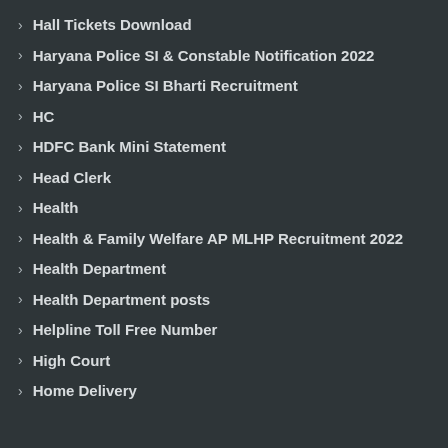Hall Tickets Download
Haryana Police SI & Constable Notification 2022
Haryana Police SI Bharti Recruitment
HC
HDFC Bank Mini Statement
Head Clerk
Health
Health & Family Welfare AP MLHP Recruitment 2022
Health Department
Health Department posts
Helpline Toll Free Number
High Court
Home Delivery